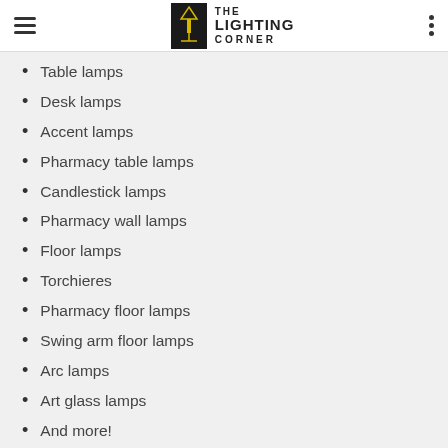THE LIGHTING CORNER
Table lamps
Desk lamps
Accent lamps
Pharmacy table lamps
Candlestick lamps
Pharmacy wall lamps
Floor lamps
Torchieres
Pharmacy floor lamps
Swing arm floor lamps
Arc lamps
Art glass lamps
And more!
Still not sure what type of lamp will suit you best? Schedule a consultation with one of our lighting experts for assistance!
TIPS FOR CHOOSING THE PERFECT LAMPSHADE